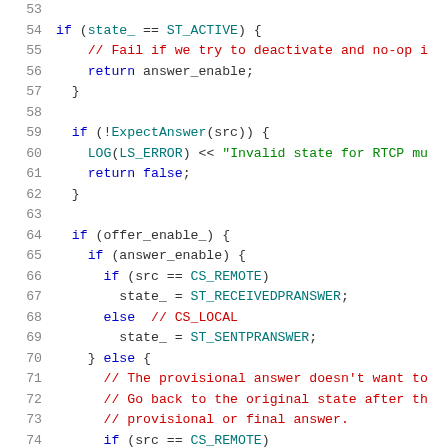[Figure (screenshot): Source code listing in C++ showing lines 53-74, with syntax highlighting. Line numbers in gray, keywords in blue, comments in red, strings in green, identifiers in dark teal.]